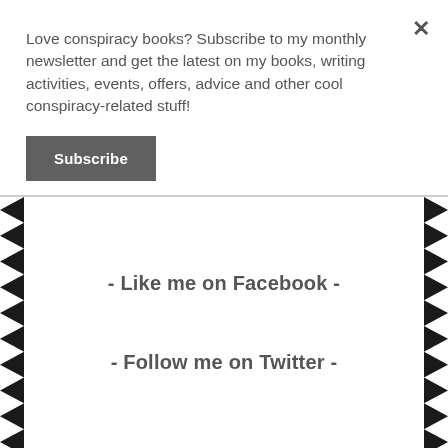Love conspiracy books? Subscribe to my monthly newsletter and get the latest on my books, writing activities, events, offers, advice and other cool conspiracy-related stuff!
Subscribe
- Like me on Facebook -
- Follow me on Twitter -